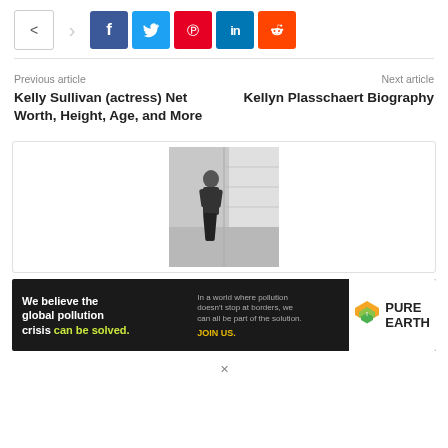[Figure (infographic): Social sharing bar with share icon, arrow, and social media buttons for Facebook (blue), Twitter (cyan), Pinterest (red), LinkedIn (dark blue), Reddit (orange)]
Previous article
Next article
Kelly Sullivan (actress) Net Worth, Height, Age, and More
Kellyn Plasschaert Biography
[Figure (photo): Person standing on stairs in a building, wearing dark clothing, black and white/grayscale photo]
[Figure (infographic): Pure Earth advertisement banner: 'We believe the global pollution crisis can be solved.' with green text for 'can be solved.' and 'In a world where pollution doesn't stop at borders, we can all be part of the solution. JOIN US.' with Pure Earth logo (diamond with layers icon and PURE EARTH text)]
×